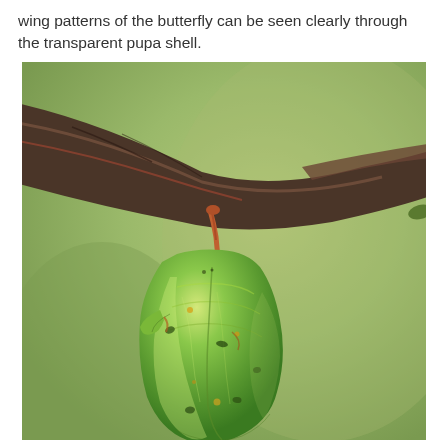wing patterns of the butterfly can be seen clearly through the transparent pupa shell.
[Figure (photo): Close-up photograph of a green butterfly chrysalis (pupa) hanging from a dark brown dried leaf or twig. The chrysalis is bright green and translucent, suspended by a short orange-brown stalk attached to the underside of the leaf. The background is a soft, blurred olive-green. Wing patterns are faintly visible through the transparent shell. Small golden dots and dark markings are visible on the chrysalis surface.]